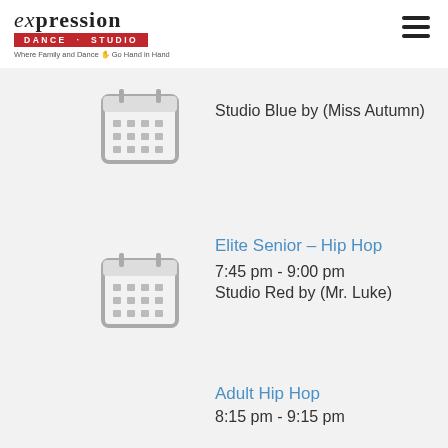[Figure (logo): Expression Dance Studio logo with tagline 'Where Family and Dance Go Hand in Hand']
[Figure (illustration): Calendar icon (grey outline)]
Studio Blue by (Miss Autumn)
[Figure (illustration): Calendar icon (grey outline)]
Elite Senior – Hip Hop
7:45 pm - 9:00 pm
Studio Red by (Mr. Luke)
Adult Hip Hop
8:15 pm - 9:15 pm